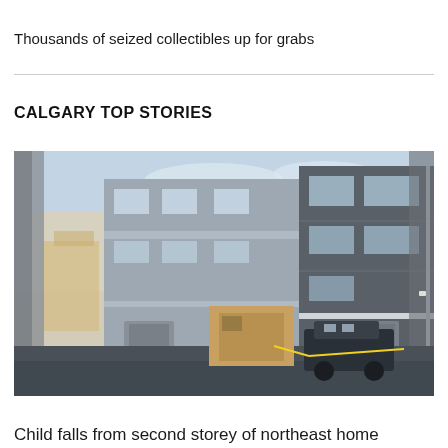Thousands of seized collectibles up for grabs
CALGARY TOP STORIES
[Figure (photo): Exterior photo of a multi-storey residential townhouse complex with dark grey/blue brick siding, white trim windows, and garage doors. A police SUV and a moving truck are parked in front. Yellow police tape is visible. The sky is partly cloudy with warm evening light on the left side.]
Child falls from second storey of northeast home